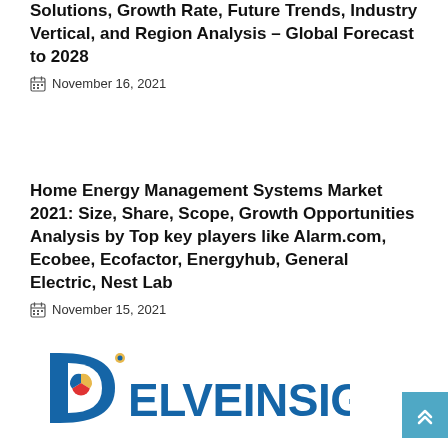Solutions, Growth Rate, Future Trends, Industry Vertical, and Region Analysis – Global Forecast to 2028
November 16, 2021
Home Energy Management Systems Market 2021: Size, Share, Scope, Growth Opportunities Analysis by Top key players like Alarm.com, Ecobee, Ecofactor, Energyhub, General Electric, Nest Lab
November 15, 2021
[Figure (logo): DelveInsight logo with stylized 'Di' icon and the text DELVEINSIGHT in blue and dark letters]